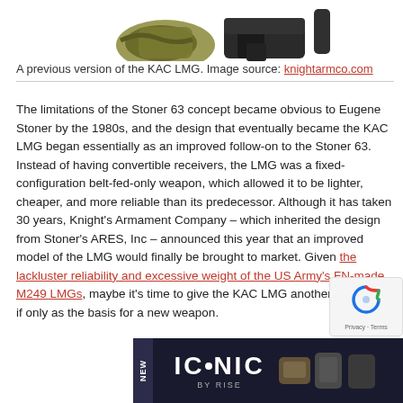[Figure (photo): Top portion of a KAC LMG firearm against white background — showing camouflage-covered component and dark pistol grip/receiver]
A previous version of the KAC LMG. Image source: knightarmco.com
The limitations of the Stoner 63 concept became obvious to Eugene Stoner by the 1980s, and the design that eventually became the KAC LMG began essentially as an improved follow-on to the Stoner 63. Instead of having convertible receivers, the LMG was a fixed-configuration belt-fed-only weapon, which allowed it to be lighter, cheaper, and more reliable than its predecessor. Although it has taken 30 years, Knight's Armament Company – which inherited the design from Stoner's ARES, Inc – announced this year that an improved model of the LMG would finally be brought to market. Given the lackluster reliability and excessive weight of the US Army's FN-made M249 LMGs, maybe it's time to give the KAC LMG another look, even if only as the basis for a new weapon.
[Figure (screenshot): Advertisement banner for ICONIC BY RISE product with dark background and gun component imagery]